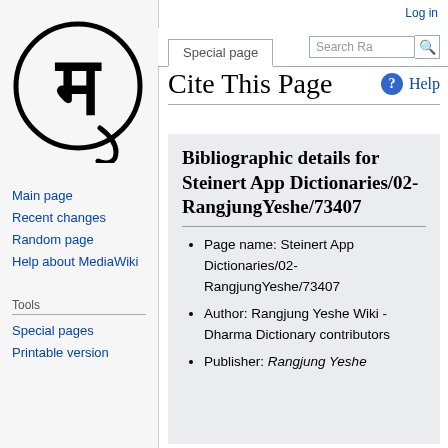Log in
[Figure (logo): MediaWiki logo: circle with stylized Devanagari character]
Main page
Recent changes
Random page
Help about MediaWiki
Tools
Special pages
Printable version
Cite This Page
Bibliographic details for Steinert App Dictionaries/02-RangjungYeshe/73407
Page name: Steinert App Dictionaries/02-RangjungYeshe/73407
Author: Rangjung Yeshe Wiki - Dharma Dictionary contributors
Publisher: Rangjung Yeshe